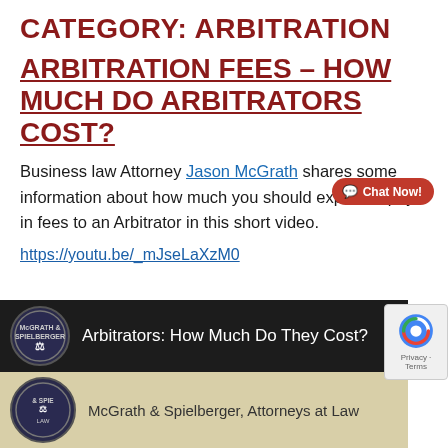CATEGORY: ARBITRATION
ARBITRATION FEES – HOW MUCH DO ARBITRATORS COST?
Business law Attorney Jason McGrath shares some information about how much you should expect to pay in fees to an Arbitrator in this short video.
https://youtu.be/_mJseLaXzM0
[Figure (screenshot): Video thumbnail showing dark top bar with McGrath & Spielberger logo and text 'Arbitrators: How Much Do They Cost?' on dark background, and beige lower bar with firm name 'McGrath & Spielberger, Attorneys at Law']